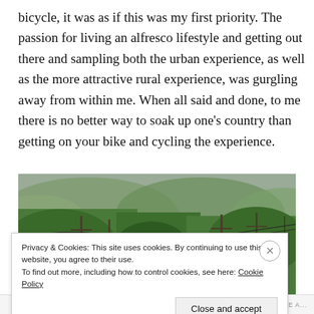bicycle, it was as if this was my first priority. The passion for living an alfresco lifestyle and getting out there and sampling both the urban experience, as well as the more attractive rural experience, was gurgling away from within me. When all said and done, to me there is no better way to soak up one's country than getting on your bike and cycling the experience.
[Figure (photo): A road leading into lush green forested hills with utility poles and power lines on both sides, overcast sky]
Privacy & Cookies: This site uses cookies. By continuing to use this website, you agree to their use.
To find out more, including how to control cookies, see here: Cookie Policy
Close and accept